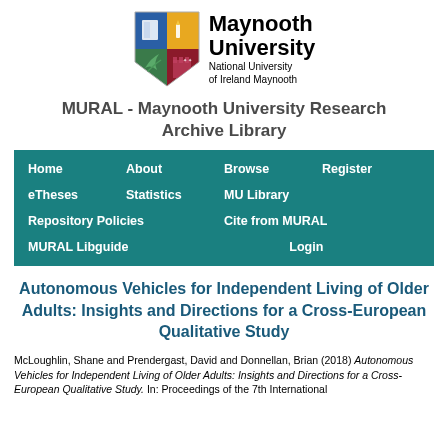[Figure (logo): Maynooth University shield logo with four quadrant colors and university name text]
MURAL - Maynooth University Research Archive Library
[Figure (screenshot): Navigation menu bar with teal background containing links: Home, About, Browse, Register, eTheses, Statistics, MU Library, Repository Policies, Cite from MURAL, MURAL Libguide, Login]
Autonomous Vehicles for Independent Living of Older Adults: Insights and Directions for a Cross-European Qualitative Study
McLoughlin, Shane and Prendergast, David and Donnellan, Brian (2018) Autonomous Vehicles for Independent Living of Older Adults: Insights and Directions for a Cross-European Qualitative Study. In: Proceedings of the 7th International